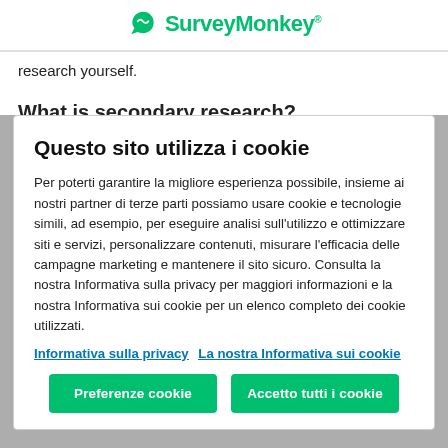SurveyMonkey
research yourself.
What is secondary research?
Questo sito utilizza i cookie
Per poterti garantire la migliore esperienza possibile, insieme ai nostri partner di terze parti possiamo usare cookie e tecnologie simili, ad esempio, per eseguire analisi sull'utilizzo e ottimizzare siti e servizi, personalizzare contenuti, misurare l'efficacia delle campagne marketing e mantenere il sito sicuro. Consulta la nostra Informativa sulla privacy per maggiori informazioni e la nostra Informativa sui cookie per un elenco completo dei cookie utilizzati.
Informativa sulla privacy   La nostra Informativa sui cookie
Preferenze cookie   Accetto tutti i cookie